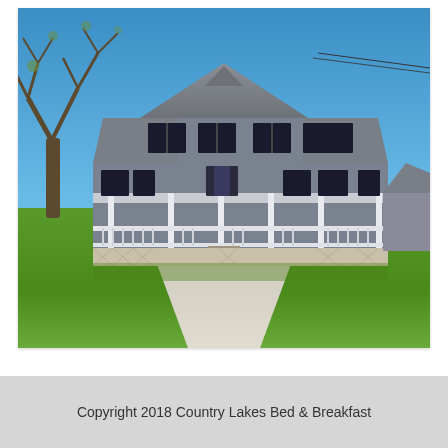[Figure (photo): Exterior photo of a two-story farm-style house with gray siding and a gray roof, a wide wraparound covered porch with white railings, multiple dormer windows on the upper floor, a concrete driveway leading to the front, green grass lawn, and a large bare tree on the left side under a clear blue sky.]
Copyright 2018 Country Lakes Bed & Breakfast